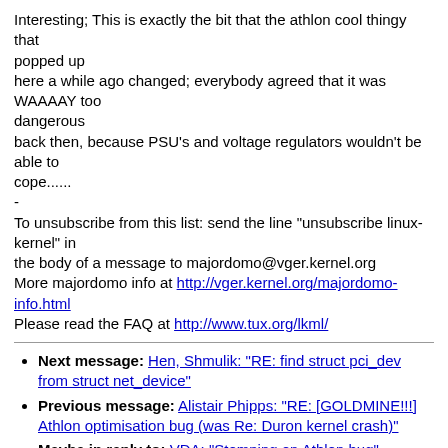Interesting; This is exactly the bit that the athlon cool thingy that
popped up
here a while ago changed; everybody agreed that it was WAAAAY too
dangerous
back then, because PSU's and voltage regulators wouldn't be able to
cope......
-
To unsubscribe from this list: send the line "unsubscribe linux-kernel" in
the body of a message to majordomo@vger.kernel.org
More majordomo info at http://vger.kernel.org/majordomo-info.html
Please read the FAQ at http://www.tux.org/lkml/
Next message: Hen, Shmulik: "RE: find struct pci_dev from struct net_device"
Previous message: Alistair Phipps: "RE: [GOLDMINE!!!] Athlon optimisation bug (was Re: Duron kernel crash)"
Maybe in reply to: VDA: "Stomping on Athlon bug"